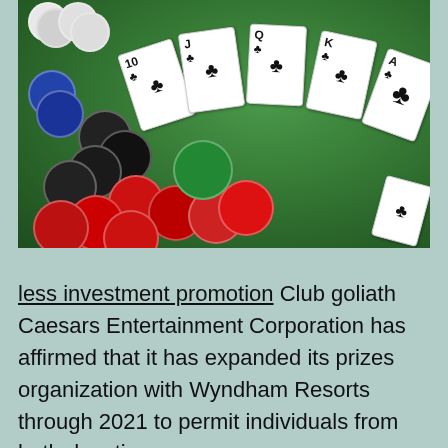[Figure (photo): Casino poker chips (red, black, blue, green, white) and playing cards (10, J, Q, K, A of clubs and other suits) spread on a green felt table surface.]
less investment promotion Club goliath Caesars Entertainment Corporation has affirmed that it has expanded its prizes organization with Wyndham Resorts through 2021 to permit individuals from both devotion